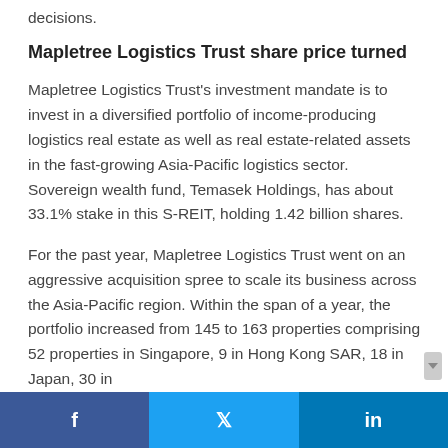decisions.
Mapletree Logistics Trust share price turned
Mapletree Logistics Trust's investment mandate is to invest in a diversified portfolio of income-producing logistics real estate as well as real estate-related assets in the fast-growing Asia-Pacific logistics sector. Sovereign wealth fund, Temasek Holdings, has about 33.1% stake in this S-REIT, holding 1.42 billion shares.
For the past year, Mapletree Logistics Trust went on an aggressive acquisition spree to scale its business across the Asia-Pacific region. Within the span of a year, the portfolio increased from 145 to 163 properties comprising 52 properties in Singapore, 9 in Hong Kong SAR, 18 in Japan, 30 in